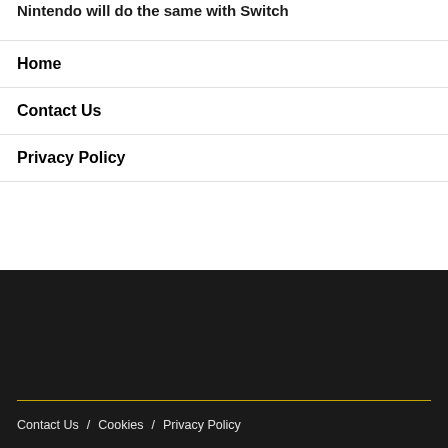Nintendo will do the same with Switch
Home
Contact Us
Privacy Policy
Contact Us / Cookies / Privacy Policy